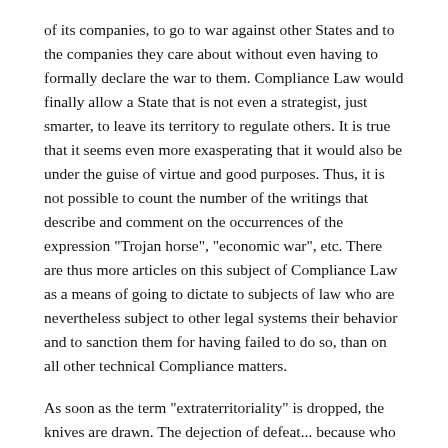of its companies, to go to war against other States and to the companies they care about without even having to formally declare the war to them. Compliance Law would finally allow a State that is not even a strategist, just smarter, to leave its territory to regulate others. It is true that it seems even more exasperating that it would also be under the guise of virtue and good purposes. Thus, it is not possible to count the number of the writings that describe and comment on the occurrences of the expression "Trojan horse", "economic war", etc. There are thus more articles on this subject of Compliance Law as a means of going to dictate to subjects of law who are nevertheless subject to other legal systems their behavior and to sanction them for having failed to do so, than on all other technical Compliance matters.
As soon as the term "extraterritoriality" is dropped, the knives are drawn. The dejection of defeat... because who can fight against American power, American Law seducing everyone? The call for resistance, or at the very least for